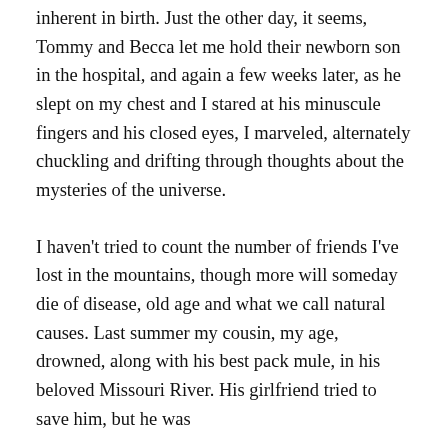inherent in birth. Just the other day, it seems, Tommy and Becca let me hold their newborn son in the hospital, and again a few weeks later, as he slept on my chest and I stared at his minuscule fingers and his closed eyes, I marveled, alternately chuckling and drifting through thoughts about the mysteries of the universe.
I haven't tried to count the number of friends I've lost in the mountains, though more will someday die of disease, old age and what we call natural causes. Last summer my cousin, my age, drowned, along with his best pack mule, in his beloved Missouri River. His girlfriend tried to save him, but he was too massive, his body, with his heavy...